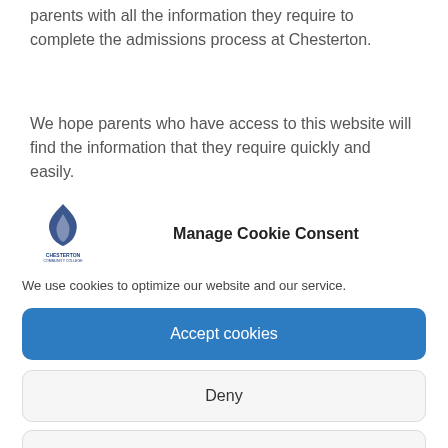parents with all the information they require to complete the admissions process at Chesterton.
We hope parents who have access to this website will find the information that they require quickly and easily.
[Figure (logo): Chesterton Community College logo — flame icon above text]
Manage Cookie Consent
We use cookies to optimize our website and our service.
Accept cookies
Deny
View preferences